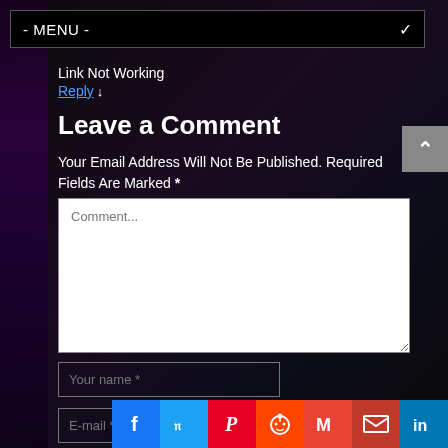- MENU -
Link Not Working
Reply ↓
Leave a Comment
Your Email Address Will Not Be Published. Required Fields Are Marked *
Comment...
Your name *
E-mail *